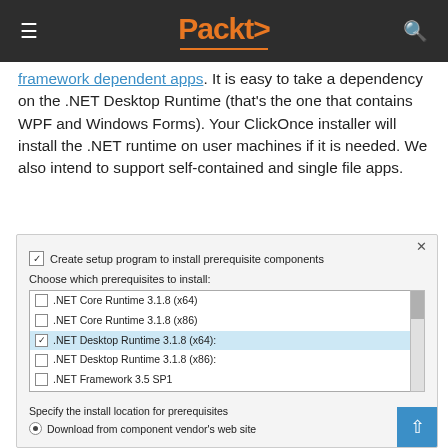Packt
framework dependent apps. It is easy to take a dependency on the .NET Desktop Runtime (that's the one that contains WPF and Windows Forms). Your ClickOnce installer will install the .NET runtime on user machines if it is needed. We also intend to support self-contained and single file apps.
[Figure (screenshot): Screenshot of a prerequisites dialog showing a list of .NET components to install, with '.NET Desktop Runtime 3.1.8 (x64)' selected (highlighted in blue). The dialog includes a checkbox 'Create setup program to install prerequisite components', a listbox with items including .NET Core Runtime 3.1.8 (x64), .NET Core Runtime 3.1.8 (x86), .NET Desktop Runtime 3.1.8 (x64) (checked/selected), .NET Desktop Runtime 3.1.8 (x86), .NET Framework 3.5 SP1, Microsoft .NET Framework 4.5.2 (x86 and x64), Microsoft .NET Framework 4.6 (x86 and x64), Microsoft .NET Framework 4.6.1 (x86 and x64), Microsoft .NET Framework 4.6.2 (x86 and x64), and a partially visible item. Below: 'Specify the install location for prerequisites' with radio button 'Download from component vendor's web site'.]